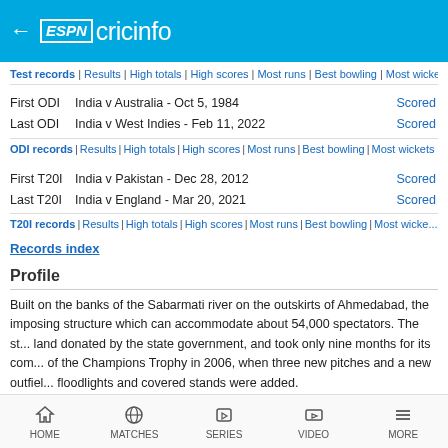ESPN cricinfo
Test records | Results | High totals | High scores | Most runs | Best bowling | Most wickets
First ODI   India v Australia - Oct 5, 1984   Scorecard
Last ODI   India v West Indies - Feb 11, 2022   Scorecard
ODI records | Results | High totals | High scores | Most runs | Best bowling | Most wickets
First T20I   India v Pakistan - Dec 28, 2012   Scorecard
Last T20I   India v England - Mar 20, 2021   Scorecard
T20I records | Results | High totals | High scores | Most runs | Best bowling | Most wickets
Records index
Profile
Built on the banks of the Sabarmati river on the outskirts of Ahmedabad, the imposing structure which can accommodate about 54,000 spectators. The stadium was built on land donated by the state government, and took only nine months for its completion. Ahead of the Champions Trophy in 2006, when three new pitches and a new outfield was laid, floodlights and covered stands were added.
Also known as the Motera, after the place where it is located, the venue hosted its first Test in 1983 and has been witness to some memorable Indian feats - Sunil Gavaskar was the hero, against Pakistan in 1986-87, and seven years later, Kapil Dev nailed hi...
HOME   MATCHES   SERIES   VIDEO   MORE